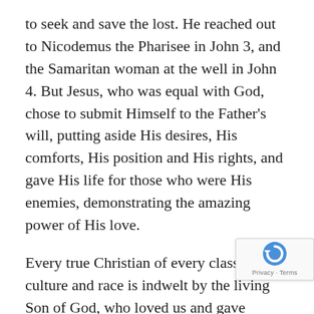to seek and save the lost. He reached out to Nicodemus the Pharisee in John 3, and the Samaritan woman at the well in John 4. But Jesus, who was equal with God, chose to submit Himself to the Father's will, putting aside His desires, His comforts, His position and His rights, and gave His life for those who were His enemies, demonstrating the amazing power of His love.
Every true Christian of every class and culture and race is indwelt by the living Son of God, who loved us and gave Himself for us. It is impossible to really believe and revel in that truth and mistreat a believer [or any other person] of a different race (Piper). Friends, you cannot hold onto the cross with one hand and your biases and prejudices with the other. If the bitter bile of racism is in your heart and it cannot be removed, then maybe you have never experienced the forgiveness of Christ in your own life. The only